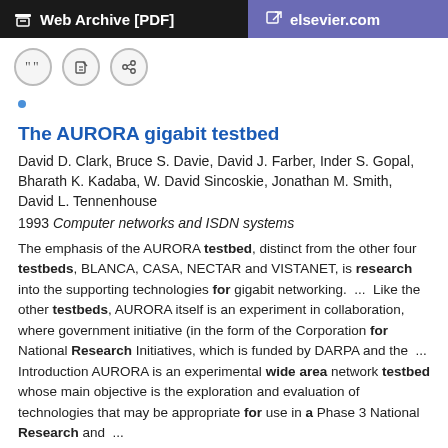Web Archive [PDF]   elsevier.com
The AURORA gigabit testbed
David D. Clark, Bruce S. Davie, David J. Farber, Inder S. Gopal, Bharath K. Kadaba, W. David Sincoskie, Jonathan M. Smith, David L. Tennenhouse
1993 Computer networks and ISDN systems
The emphasis of the AURORA testbed, distinct from the other four testbeds, BLANCA, CASA, NECTAR and VISTANET, is research into the supporting technologies for gigabit networking.  ...  Like the other testbeds, AURORA itself is an experiment in collaboration, where government initiative (in the form of the Corporation for National Research Initiatives, which is funded by DARPA and the  ...  Introduction AURORA is an experimental wide area network testbed whose main objective is the exploration and evaluation of technologies that may be appropriate for use in a Phase 3 National Research and  ...
doi:10.1016/0169-7552(93)90056-a